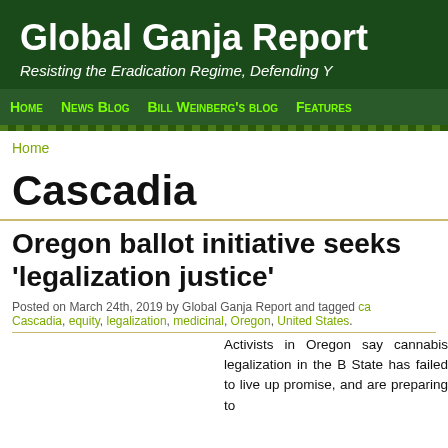Global Ganja Report
Resisting the Eradication Regime, Defending Y
Home  News Blog  Bill Weinberg's blog  Features
Home
Cascadia
Oregon ballot initiative seeks 'legalization justice'
Posted on March 24th, 2019 by Global Ganja Report and tagged ca Cascadia, equity, legalization, medicinal, Oregon, United States.
Activists in Oregon say cannabis legalization in the B State has failed to live up promise, and are preparing to